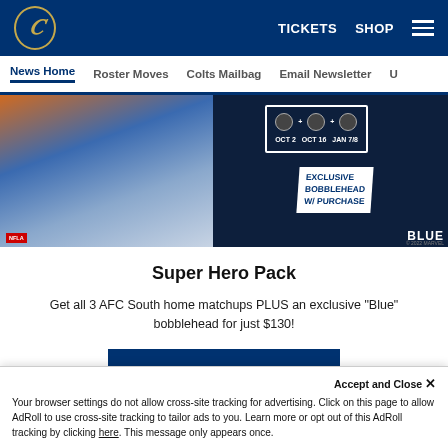TICKETS  SHOP  ≡  (Indianapolis Colts logo)
News Home  Roster Moves  Colts Mailbag  Email Newsletter  U...
[Figure (photo): Indianapolis Colts Super Hero Pack promotional image showing Marvel-themed Colts characters on the left and a bobblehead promotion panel on the right with dates OCT 2, OCT 16, JAN 7/8 for AFC South matchups and 'EXCLUSIVE BOBBLEHEAD W/ PURCHASE' text, plus a Blue mascot bobblehead figure.]
Super Hero Pack
Get all 3 AFC South home matchups PLUS an exclusive "Blue" bobblehead for just $130!
GET YOUR PACK!
Accept and Close ✕
Your browser settings do not allow cross-site tracking for advertising. Click on this page to allow AdRoll to use cross-site tracking to tailor ads to you. Learn more or opt out of this AdRoll tracking by clicking here. This message only appears once.